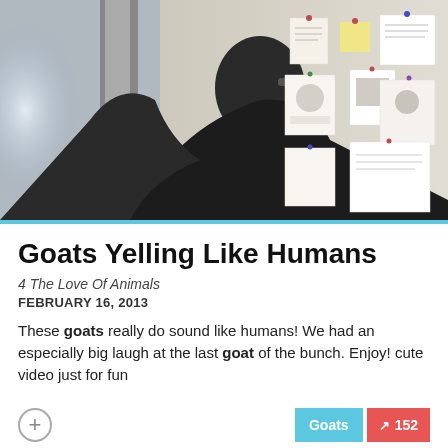[Figure (photo): A person viewed from behind, wearing dark clothing, looking at a bulletin board covered with papers and notes pinned to it. The image is slightly blurred and has a moody, dark-to-light gradient from left to right.]
Goats Yelling Like Humans
4 The Love Of Animals
FEBRUARY 16, 2013
These goats really do sound like humans! We had an especially big laugh at the last goat of the bunch. Enjoy! cute video just for fun
Goats  152